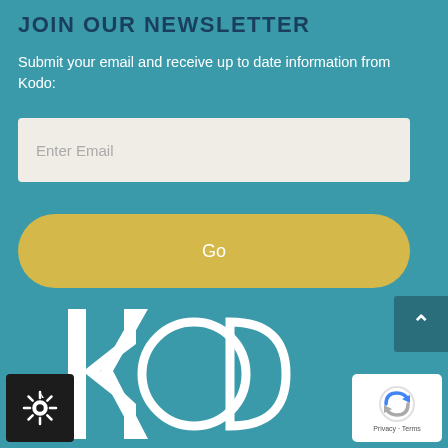JOIN OUR NEWSLETTER
Submit your email and receive up to date information from Kodo:
[Figure (screenshot): Email input field with placeholder text 'Enter Email' on a light beige background]
[Figure (screenshot): Yellow pill-shaped 'Go' button]
[Figure (logo): Kodo logo in white outline on teal background]
[Figure (screenshot): Settings gear icon button in dark background]
[Figure (screenshot): Google reCAPTCHA badge with Privacy and Terms links]